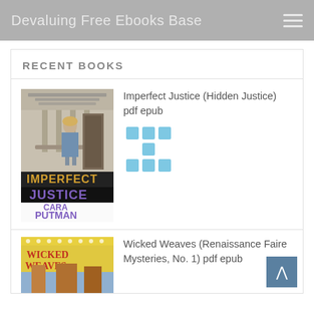Devaluing Free Ebooks Base
RECENT BOOKS
[Figure (illustration): Book cover for 'Imperfect Justice' by Cara Putman — shows a woman walking away through a doorway, text in gold and purple]
Imperfect Justice (Hidden Justice) pdf epub
[Figure (other): 3x3 grid of light blue square icons]
[Figure (illustration): Book cover for 'Wicked Weaves (Renaissance Faire Mysteries, No. 1)' — colorful faire scene]
Wicked Weaves (Renaissance Faire Mysteries, No. 1) pdf epub